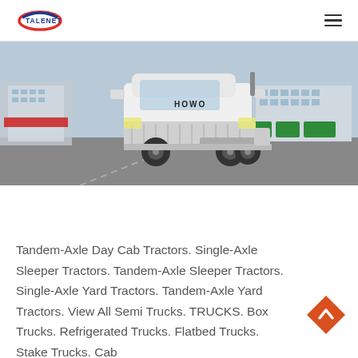TALENET
[Figure (photo): White HOWO semi truck tractor parked in a lot, front three-quarter view, with industrial buildings in the background.]
Tandem-Axle Day Cab Tractors. Single-Axle Sleeper Tractors. Tandem-Axle Sleeper Tractors. Single-Axle Yard Tractors. Tandem-Axle Yard Tractors. View All Semi Trucks. TRUCKS. Box Trucks. Refrigerated Trucks. Flatbed Trucks. Stake Trucks. Cab